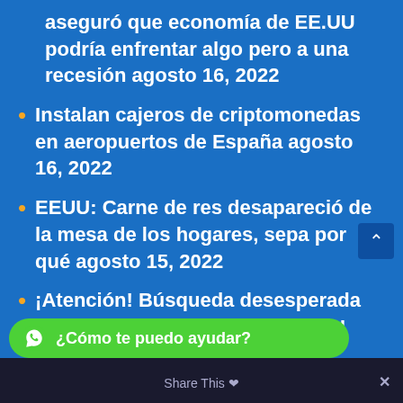aseguró que economía de EE.UU podría enfrentar algo pero a una recesión agosto 16, 2022
Instalan cajeros de criptomonedas en aeropuertos de España agosto 16, 2022
EEUU: Carne de res desapareció de la mesa de los hogares, sepa por qué agosto 15, 2022
¡Atención! Búsqueda desesperada de empleados continúo en EEUU
¿Cómo te puedo ayudar?
Share This